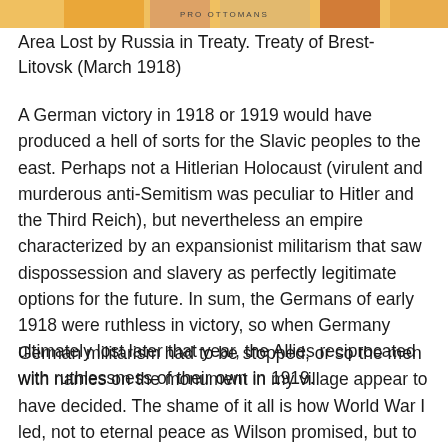[Figure (map): Top portion of a historical map showing territory labeled 'PRO OTTOMANS' in partial view, with colored regions in orange and other tones.]
Area Lost by Russia in Treaty. Treaty of Brest-Litovsk (March 1918)
A German victory in 1918 or 1919 would have produced a hell of sorts for the Slavic peoples to the east. Perhaps not a Hitlerian Holocaust (virulent and murderous anti-Semitism was peculiar to Hitler and the Third Reich), but nevertheless an empire characterized by an expansionist militarism that saw dispossession and slavery as perfectly legitimate options for the future. In sum, the Germans of early 1918 were ruthless in victory, so when Germany ultimately lost later that year, the Allies reciprocated with ruthlessness of their own in 1919.
German militarism had to be stopped, or so the men with names on the monument in my village appear to have decided. The shame of it all is how World War I led, not to eternal peace as Wilson promised, but to World War II